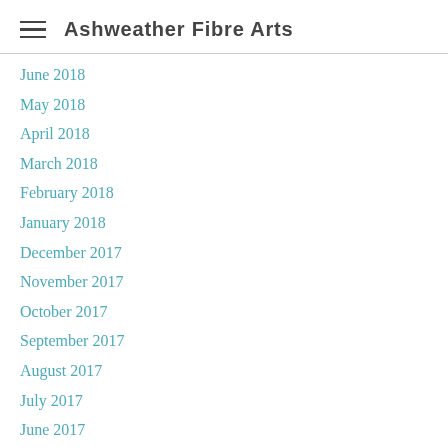Ashweather Fibre Arts
June 2018
May 2018
April 2018
March 2018
February 2018
January 2018
December 2017
November 2017
October 2017
September 2017
August 2017
July 2017
June 2017
May 2017
April 2017
March 2017
February 2017
January 2017